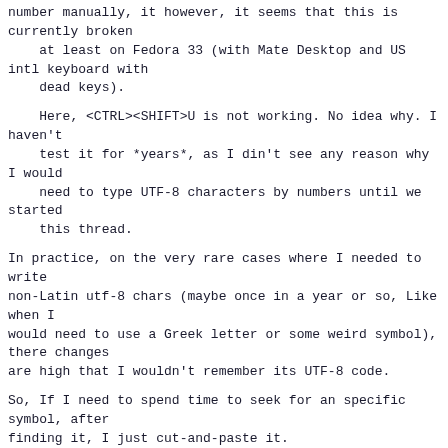number manually, it however, it seems that this is currently broken
    at least on Fedora 33 (with Mate Desktop and US intl keyboard with
        dead keys).
Here, <CTRL><SHIFT>U is not working. No idea why. I haven't
    test it for *years*, as I din't see any reason why I would
    need to type UTF-8 characters by numbers until we started
        this thread.
In practice, on the very rare cases where I needed to write
non-Latin utf-8 chars (maybe once in a year or so, Like when I
would need to use a Greek letter or some weird symbol), there changes
are high that I wouldn't remember its UTF-8 code.
So, If I need to spend time to seek for an specific symbol, after
finding it, I just cut-and-paste it.
But even in the best case scenario where I know the UTF-8 and
<CTRL><SHIFT>U works, if I wanted to use, for instance, a curly
comma, the keystroke sequence would be: